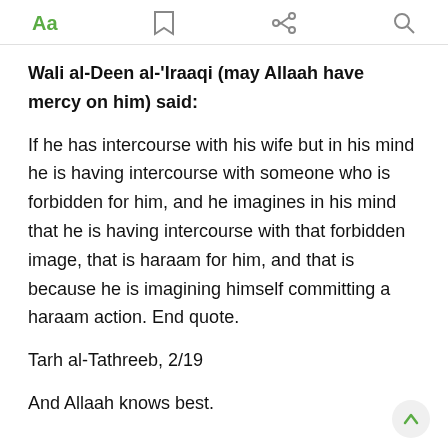Aa  [bookmark]  [share]  [search]
Wali al-Deen al-'Iraaqi (may Allaah have mercy on him) said:
If he has intercourse with his wife but in his mind he is having intercourse with someone who is forbidden for him, and he imagines in his mind that he is having intercourse with that forbidden image, that is haraam for him, and that is because he is imagining himself committing a haraam action. End quote.
Tarh al-Tathreeb, 2/19
And Allaah knows best.